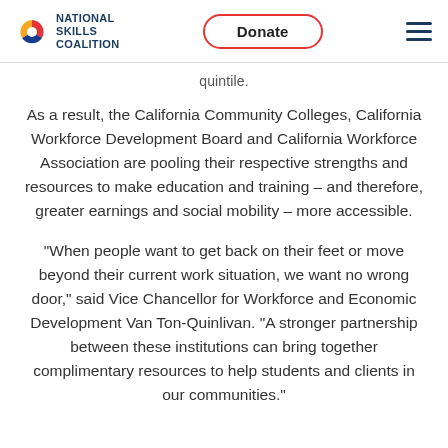NATIONAL SKILLS COALITION | Donate
quintile.
As a result, the California Community Colleges, California Workforce Development Board and California Workforce Association are pooling their respective strengths and resources to make education and training – and therefore, greater earnings and social mobility – more accessible.
“When people want to get back on their feet or move beyond their current work situation, we want no wrong door,” said Vice Chancellor for Workforce and Economic Development Van Ton-Quinlivan. “A stronger partnership between these institutions can bring together complimentary resources to help students and clients in our communities.”